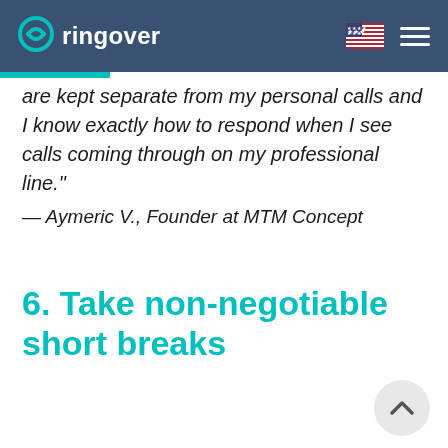ringover
are kept separate from my personal calls and I know exactly how to respond when I see calls coming through on my professional line."
— Aymeric V., Founder at MTM Concept
6. Take non-negotiable short breaks